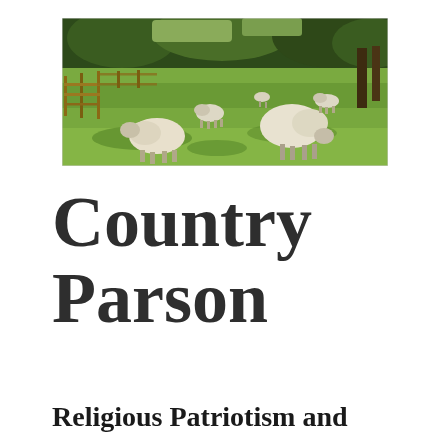[Figure (photo): Photograph of sheep grazing in a green pasture with wooden fences and trees in the background, taken on a sunny day.]
Country Parson
Religious Patriotism and